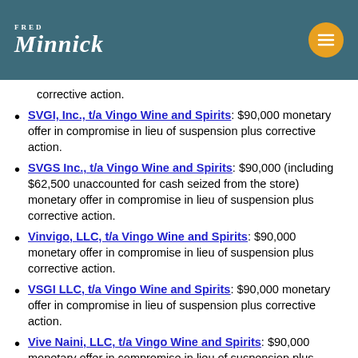Fred Minnick
corrective action.
SVGI, Inc., t/a Vingo Wine and Spirits: $90,000 monetary offer in compromise in lieu of suspension plus corrective action.
SVGS Inc., t/a Vingo Wine and Spirits: $90,000 (including $62,500 unaccounted for cash seized from the store) monetary offer in compromise in lieu of suspension plus corrective action.
Vinvigo, LLC, t/a Vingo Wine and Spirits: $90,000 monetary offer in compromise in lieu of suspension plus corrective action.
VSGI LLC, t/a Vingo Wine and Spirits: $90,000 monetary offer in compromise in lieu of suspension plus corrective action.
Vive Naini, LLC, t/a Vingo Wine and Spirits: $90,000 monetary offer in compromise in lieu of suspension plus corrective action.